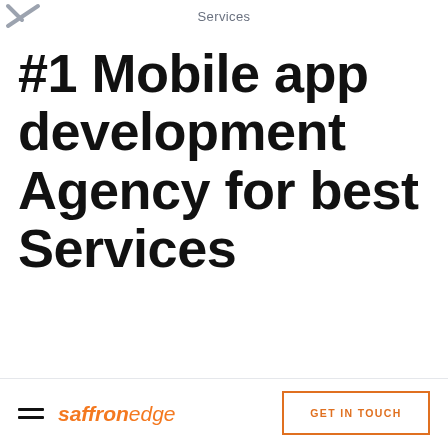Services
#1 Mobile app development Agency for best Services
Saffron Edge develops mobile applications...
saffronedge  GET IN TOUCH